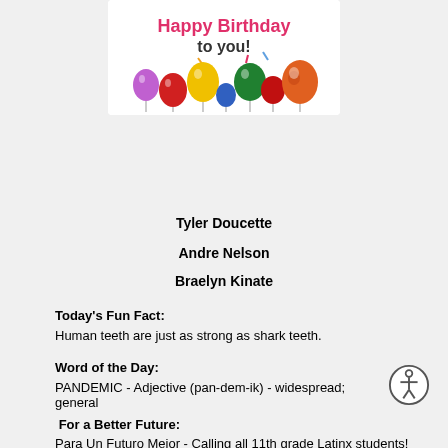[Figure (illustration): Happy Birthday to you! greeting image with colorful balloons]
Tyler Doucette
Andre Nelson
Braelyn Kinate
Today's Fun Fact:
Human teeth are just as strong as shark teeth.
Word of the Day:
PANDEMIC - Adjective (pan-dem-ik) - widespread; general
For a Better Future:
Para Un Futuro Mejor - Calling all 11th grade Latinx students!